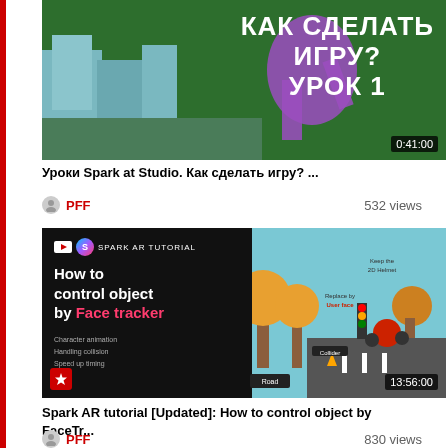[Figure (screenshot): Video thumbnail: green background with white bold Cyrillic text 'КАК СДЕЛАТЬ ИГРУ? УРОК 1' and city illustration. Duration 0:41:00.]
Уроки Spark at Studio. Как сделать игру? ...
PFF
532 views
[Figure (screenshot): Video thumbnail for Spark AR tutorial showing 'How to control object by Face tracker' on dark background with illustrated character on scooter. Duration 13:56:00.]
Spark AR tutorial [Updated]: How to control object by FaceTr...
PFF
830 views